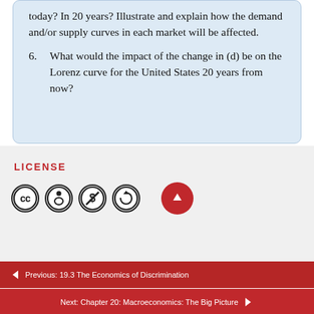today? In 20 years? Illustrate and explain how the demand and/or supply curves in each market will be affected.
6. What would the impact of the change in (d) be on the Lorenz curve for the United States 20 years from now?
LICENSE
[Figure (illustration): Creative Commons license icons: CC, BY (attribution), NC (non-commercial), SA (share-alike), and a red circular back-to-top arrow button]
← Previous: 19.3 The Economics of Discrimination
Next: Chapter 20: Macroeconomics: The Big Picture →